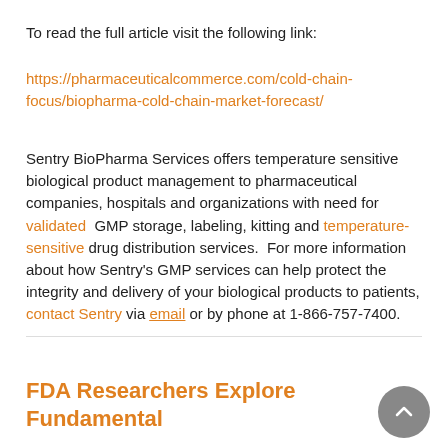To read the full article visit the following link:
https://pharmaceuticalcommerce.com/cold-chain-focus/biopharma-cold-chain-market-forecast/
Sentry BioPharma Services offers temperature sensitive biological product management to pharmaceutical companies, hospitals and organizations with need for validated GMP storage, labeling, kitting and temperature-sensitive drug distribution services. For more information about how Sentry's GMP services can help protect the integrity and delivery of your biological products to patients, contact Sentry via email or by phone at 1-866-757-7400.
FDA Researchers Explore Fundamental